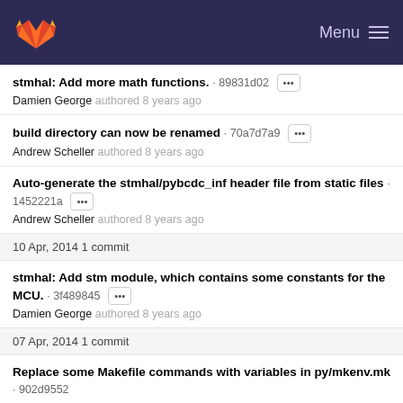GitLab · Menu
stmhal: Add more math functions. · 89831d02 ··· Damien George authored 8 years ago
build directory can now be renamed · 70a7d7a9 ··· Andrew Scheller authored 8 years ago
Auto-generate the stmhal/pybcdc_inf header file from static files · 1452221a ··· Andrew Scheller authored 8 years ago
10 Apr, 2014 1 commit
stmhal: Add stm module, which contains some constants for the MCU. · 3f489845 ··· Damien George authored 8 years ago
07 Apr, 2014 1 commit
Replace some Makefile commands with variables in py/mkenv.mk · 902d9552